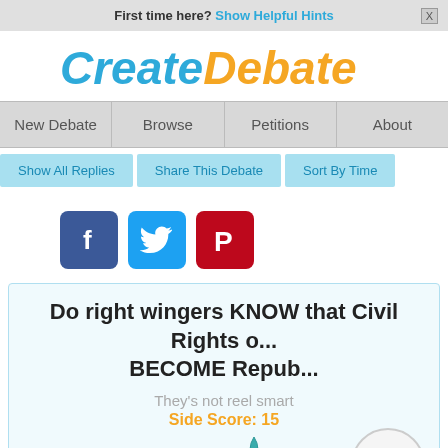First time here? Show Helpful Hints
[Figure (logo): CreateDebate logo with 'Create' in blue and 'Debate' in orange, bold italic font]
New Debate | Browse | Petitions | About
Show All Replies | Share This Debate | Sort By Time
[Figure (illustration): Facebook, Twitter, and Pinterest social media share buttons]
Do right wingers KNOW that Civil Rights o... BECOME Repub...
They's not reel smart
Side Score: 15
ADD ARGUMENT